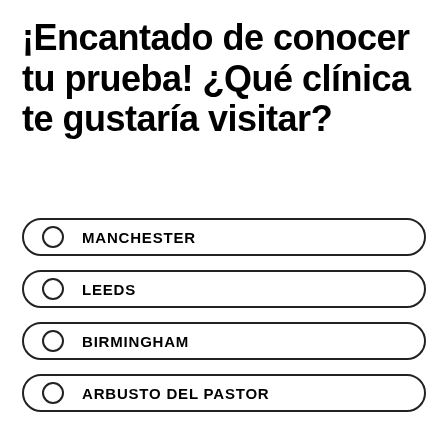¡Encantado de conocer tu prueba! ¿Qué clínica te gustaría visitar?
MANCHESTER
LEEDS
BIRMINGHAM
ARBUSTO DEL PASTOR